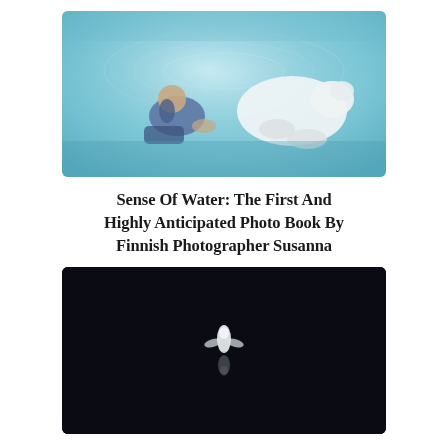[Figure (photo): Underwater photograph showing a person in blue clothing alongside a polar bear swimming in light blue-tinted water, viewed from above/side angle.]
Sense Of Water: The First And Highly Anticipated Photo Book By Finnish Photographer Susanna
[Figure (photo): Aerial photograph of a single white bird or small creature floating/swimming in very dark, nearly black water, with a faint reflection visible below it.]
Spectacular Winning Photos Of The